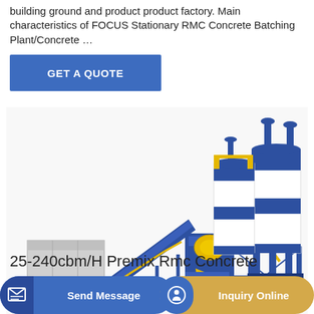building ground and product product factory. Main characteristics of FOCUS Stationary RMC Concrete Batching Plant/Concrete …
GET A QUOTE
[Figure (photo): Industrial concrete batching plant with blue steel frame structure, conveyor belt system, yellow mechanical components, and two large white/blue cylindrical cement silos on the right side.]
25-240cbm/H Premix Rmc Concrete
ant f  ionary RM  Plant/Concrete Mixing Plant H70 Series mechanical...
Send Message
Inquiry Online